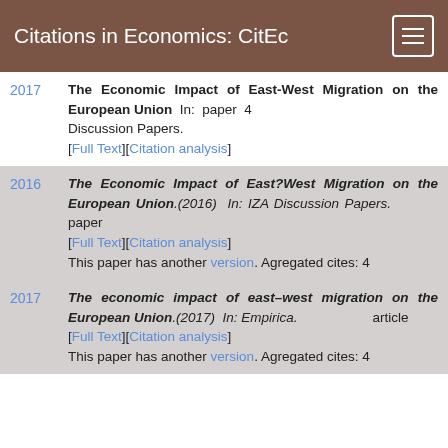Citations in Economics: CitEc
The Economic Impact of East-West Migration on the European Union In: paper 4 Discussion Papers. [Full Text][Citation analysis]
The Economic Impact of East?West Migration on the European Union.(2016) In: IZA Discussion Papers. paper [Full Text][Citation analysis] This paper has another version. Agregated cites: 4
The economic impact of east–west migration on the European Union.(2017) In: Empirica. article [Full Text][Citation analysis] This paper has another version. Agregated cites: 4